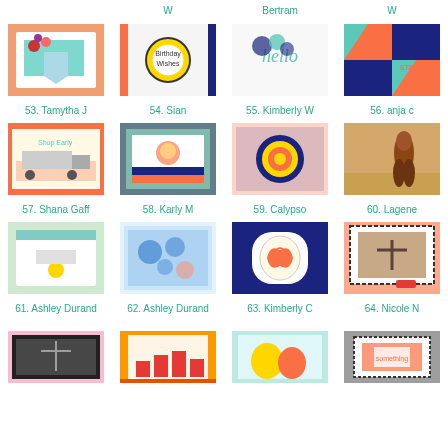W
Bertram
W
[Figure (photo): Handmade card with orange banner and flowers - 53. Tamytha J]
[Figure (photo): Handmade card with birthday medallion - 54. Sian]
[Figure (photo): Handmade card with floral design - 55. Kimberly W]
[Figure (photo): Handmade card with argyle pattern - 56. anja c]
53. Tamytha J
54. Sian
55. Kimberly W
56. anja c
[Figure (photo): Handmade card with truck - 57. Shana Gaff]
[Figure (photo): Handmade card layered design - 58. Karly M]
[Figure (photo): Handmade card with orange flower - 59. Calypso]
[Figure (photo): Handmade card with horse - 60. Lagene]
57. Shana Gaff
58. Karly M
59. Calypso
60. Lagene
[Figure (photo): Handmade card green patterns - 61. Ashley Durand]
[Figure (photo): Handmade card blue floral - 62. Ashley Durand]
[Figure (photo): Handmade card butterfly - 63. Kimberly C]
[Figure (photo): Handmade card with cross - 64. Nicole N]
61. Ashley Durand
62. Ashley Durand
63. Kimberly C
64. Nicole N
[Figure (photo): Handmade card with cross dark pattern]
[Figure (photo): Handmade card with house/building scene]
[Figure (photo): Handmade card with orange design]
[Figure (photo): Handmade card with orange banner]